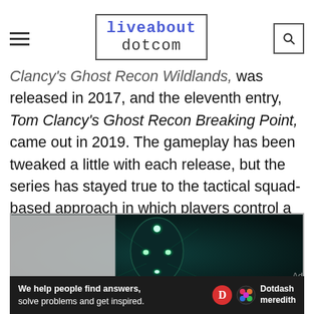liveabout dotcom
Clancy's Ghost Recon Wildlands, was released in 2017, and the eleventh entry, Tom Clancy's Ghost Recon Breaking Point, came out in 2019. The gameplay has been tweaked a little with each release, but the series has stayed true to the tactical squad-based approach in which players control a single soldier while planning and issuing orders at the squad level.
[Figure (screenshot): Dark teal-background game screenshot showing a glowing robotic face or mask with green lights, likely from Ghost Recon Breakpoint promotional material.]
We help people find answers, solve problems and get inspired. Dotdash meredith